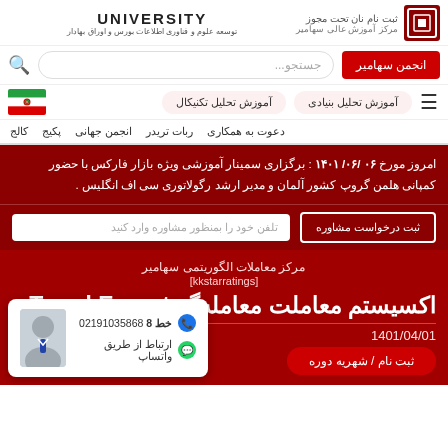مرکز آموزش عالی سهامیر UNIVERSITY
انجمن سهامیر
جستجو...
آموزش تحلیل تکنیکال
آموزش تحلیل بنیادی
کالج پکیج انجمن جهانی ربات تریدر دعوت به همکاری
امروز مورخ ۰۶ /۰۶/ ۱۴۰۱ : برگزاری سمینار آموزشی ویژه بازار فارکس با حضور کمپانی هلمن گروپ کشور آلمان و مدیر ارشد رگولاتوری سی اف انگلیس .
ثبت درخواست مشاوره
تلفن خود را بمنظور مشاوره وارد کنید
مرکز معاملات الگوریتمی سهامیر
[kkstarratings]
اکسیستم معاملت معامله گر Trend Expert
1401/04/01
ثبت نام / شهریه دوره
8 خط 02191035868
ارتباط از طریق واتساپ